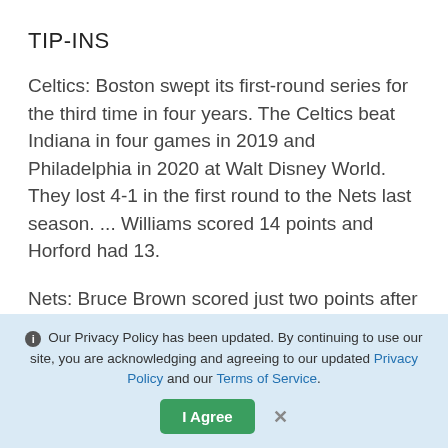TIP-INS
Celtics: Boston swept its first-round series for the third time in four years. The Celtics beat Indiana in four games in 2019 and Philadelphia in 2020 at Walt Disney World. They lost 4-1 in the first round to the Nets last season. ... Williams scored 14 points and Horford had 13.
Nets: Bruce Brown scored just two points after having 26 and 23 in the previous two games, the first time he had consecutive 20-point games in his career. ... Nic Claxton scored 13 points. He was 6 for 6 from the field but 1 for 11 at the
Our Privacy Policy has been updated. By continuing to use our site, you are acknowledging and agreeing to our updated Privacy Policy and our Terms of Service.